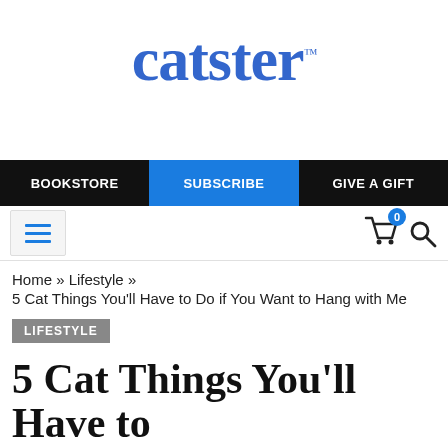catster
BOOKSTORE | SUBSCRIBE | GIVE A GIFT
Home » Lifestyle »
5 Cat Things You'll Have to Do if You Want to Hang with Me
LIFESTYLE
5 Cat Things You'll Have to